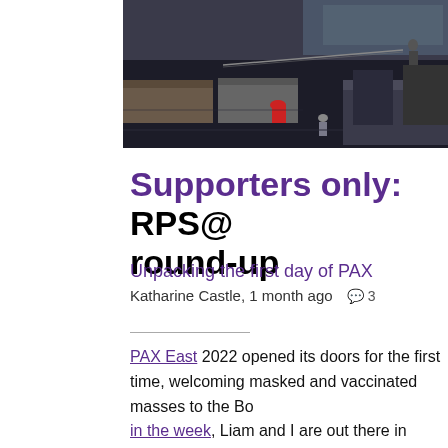[Figure (photo): Aerial view of a convention hall floor with people and tables, appears to be a gaming expo setup (PAX East). Shows overhead view with a person in a red shirt at a table and dark expo flooring.]
Supporters only: RPS@ round-up
Unpacking the first day of PAX
Katharine Castle, 1 month ago  🗨 3
PAX East 2022 opened its doors for the first time, welcoming masked and vaccinated masses to the Bo... earlier in the week, Liam and I are out there in person shooting behind-the-scenes videos for RPS supporters. To kick things off, here's a round-up video, where we tell what we gathered and found from the show floor. Come and join us fo...